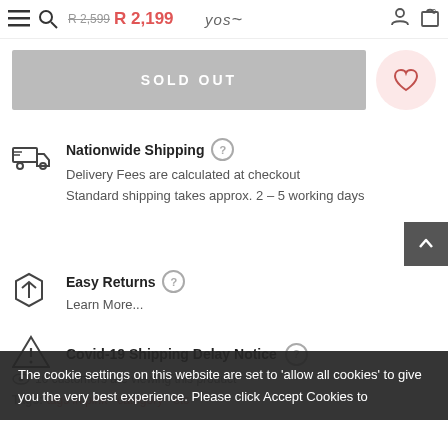R 2,599  R 2,199  yos  (user icon) (cart icon)
SOLD OUT
Nationwide Shipping
Delivery Fees are calculated at checkout
Standard shipping takes approx. 2 - 5 working days
Easy Returns
Learn More...
Covid-19 Shipping Delay Notice
10 customers are viewing this product
Tags: [tags in pink]
The cookie settings on this website are set to 'allow all cookies' to give you the very best experience. Please click Accept Cookies to